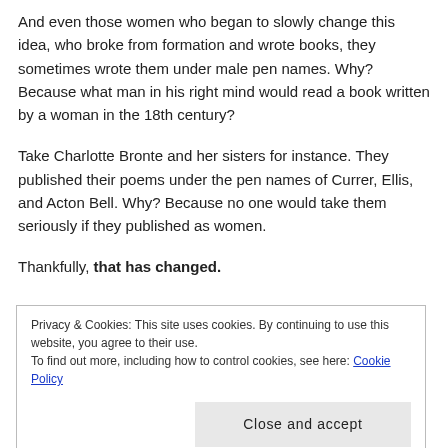And even those women who began to slowly change this idea, who broke from formation and wrote books, they sometimes wrote them under male pen names. Why? Because what man in his right mind would read a book written by a woman in the 18th century?
Take Charlotte Bronte and her sisters for instance. They published their poems under the pen names of Currer, Ellis, and Acton Bell. Why? Because no one would take them seriously if they published as women.
Thankfully, that has changed.
Privacy & Cookies: This site uses cookies. By continuing to use this website, you agree to their use.
To find out more, including how to control cookies, see here: Cookie Policy
Close and accept